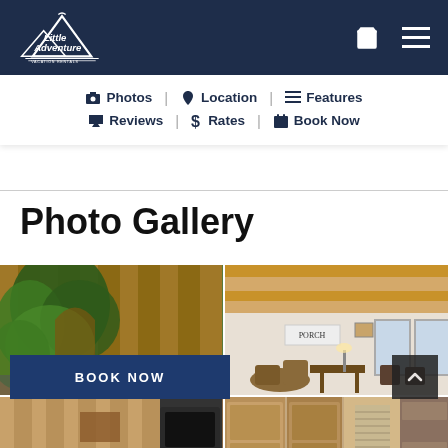Little Adventure Vacation Rentals
📷 Photos  |  📍 Location  |  ☰ Features
💬 Reviews  |  $ Rates  |  📅 Book Now
Photo Gallery
[Figure (photo): Outdoor garden area with wooden fence covered in ivy and lattice]
[Figure (photo): Interior living room with wood-paneled ceiling, wicker furniture, and windows]
[Figure (photo): Interior room with wood paneling and stove]
[Figure (photo): Interior room with wooden doors and stone wall]